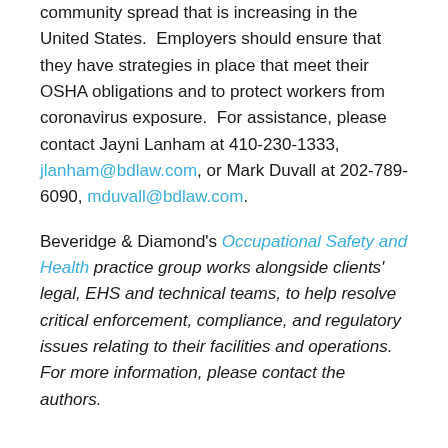community spread that is increasing in the United States. Employers should ensure that they have strategies in place that meet their OSHA obligations and to protect workers from coronavirus exposure. For assistance, please contact Jayni Lanham at 410-230-1333, jlanham@bdlaw.com, or Mark Duvall at 202-789-6090, mduvall@bdlaw.com.
Beveridge & Diamond's Occupational Safety and Health practice group works alongside clients' legal, EHS and technical teams, to help resolve critical enforcement, compliance, and regulatory issues relating to their facilities and operations. For more information, please contact the authors.